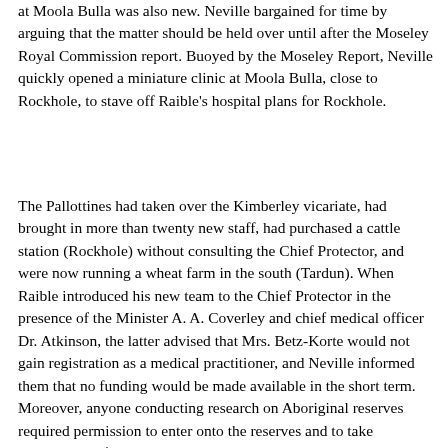at Moola Bulla was also new. Neville bargained for time by arguing that the matter should be held over until after the Moseley Royal Commission report. Buoyed by the Moseley Report, Neville quickly opened a miniature clinic at Moola Bulla, close to Rockhole, to stave off Raible's hospital plans for Rockhole.
The Pallottines had taken over the Kimberley vicariate, had brought in more than twenty new staff, had purchased a cattle station (Rockhole) without consulting the Chief Protector, and were now running a wheat farm in the south (Tardun). When Raible introduced his new team to the Chief Protector in the presence of the Minister A. A. Coverley and chief medical officer Dr. Atkinson, the latter advised that Mrs. Betz-Korte would not gain registration as a medical practitioner, and Neville informed them that no funding would be made available in the short term. Moreover, anyone conducting research on Aboriginal reserves required permission to enter onto the reserves and to take photographs. 4  Read more -  [8]The West Australian, 24 September 1935 [9].